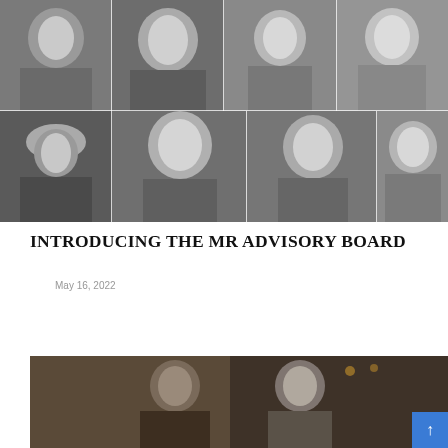[Figure (photo): Collage of 8 black-and-white headshots of advisory board members arranged in two rows: Row 1 has 4 people (man with tattoos, older man in black shirt, Asian woman, woman smiling); Row 2 has 4 people (man in hat, man with beard smiling broadly, bearded man, older man).]
INTRODUCING THE MR ADVISORY BOARD
May 16, 2022
[Figure (photo): Color photograph of two well-dressed men seated in a restaurant or bar setting with dark wood decor.]